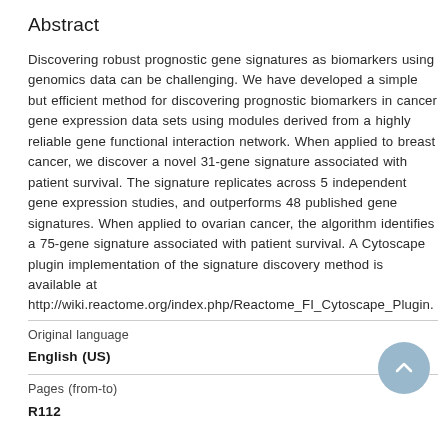Abstract
Discovering robust prognostic gene signatures as biomarkers using genomics data can be challenging. We have developed a simple but efficient method for discovering prognostic biomarkers in cancer gene expression data sets using modules derived from a highly reliable gene functional interaction network. When applied to breast cancer, we discover a novel 31-gene signature associated with patient survival. The signature replicates across 5 independent gene expression studies, and outperforms 48 published gene signatures. When applied to ovarian cancer, the algorithm identifies a 75-gene signature associated with patient survival. A Cytoscape plugin implementation of the signature discovery method is available at http://wiki.reactome.org/index.php/Reactome_FI_Cytoscape_Plugin.
Original language
English (US)
Pages (from-to)
R112